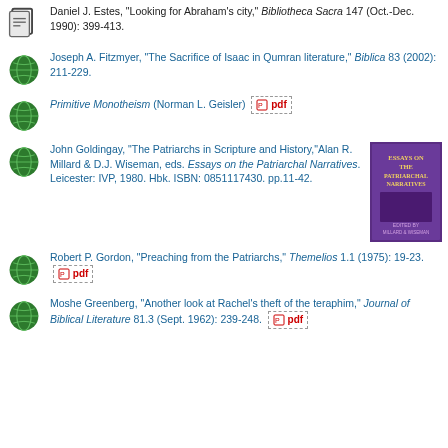Daniel J. Estes, "Looking for Abraham's city," Bibliotheca Sacra 147 (Oct.-Dec. 1990): 399-413.
Joseph A. Fitzmyer, "The Sacrifice of Isaac in Qumran literature," Biblica 83 (2002): 211-229.
Primitive Monotheism (Norman L. Geisler) [pdf]
John Goldingay, "The Patriarchs in Scripture and History,"Alan R. Millard & D.J. Wiseman, eds. Essays on the Patriarchal Narratives. Leicester: IVP, 1980. Hbk. ISBN: 0851117430. pp.11-42.
Robert P. Gordon, "Preaching from the Patriarchs," Themelios 1.1 (1975): 19-23. [pdf]
Moshe Greenberg, "Another look at Rachel's theft of the teraphim," Journal of Biblical Literature 81.3 (Sept. 1962): 239-248. [pdf]